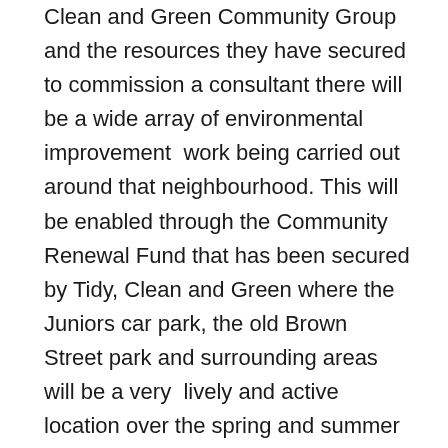Clean and Green Community Group and the resources they have secured to commission a consultant there will be a wide array of environmental improvement work being carried out around that neighbourhood. This will be enabled through the Community Renewal Fund that has been secured by Tidy, Clean and Green where the Juniors car park, the old Brown Street park and surrounding areas will be a very lively and active location over the spring and summer months. This is about community engagement and involvement and there will be loads of learning opportunities, but they will be delivered in a fun and enjoyable way. Please keep an eye out for further activities and events , I have some people's contact detail which is great, but I will also ensure that all the environmental programmes and opportunities planned for the next few months are well publicised and they will feature prominently on the Our Place Camelon and Tamfourhill